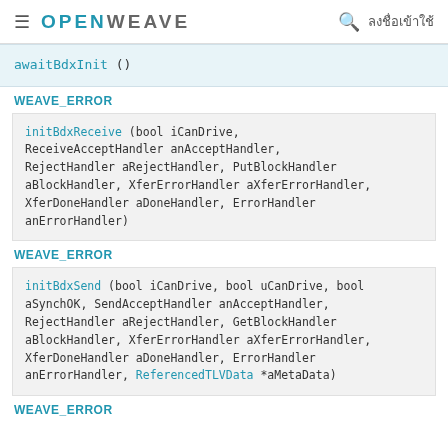≡ OPENWEAVE 🔍 ลงชื่อเข้าใช้
awaitBdxInit ()
WEAVE_ERROR
initBdxReceive (bool iCanDrive, ReceiveAcceptHandler anAcceptHandler, RejectHandler aRejectHandler, PutBlockHandler aBlockHandler, XferErrorHandler aXferErrorHandler, XferDoneHandler aDoneHandler, ErrorHandler anErrorHandler)
WEAVE_ERROR
initBdxSend (bool iCanDrive, bool uCanDrive, bool aSynchOK, SendAcceptHandler anAcceptHandler, RejectHandler aRejectHandler, GetBlockHandler aBlockHandler, XferErrorHandler aXferErrorHandler, XferDoneHandler aDoneHandler, ErrorHandler anErrorHandler, ReferencedTLVData *aMetaData)
WEAVE_ERROR